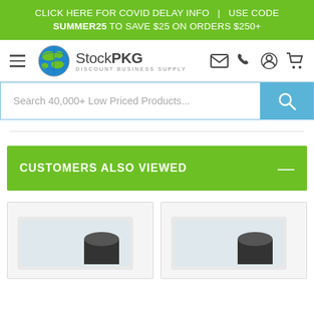CLICK HERE FOR COVID DELAY INFO | USE CODE SUMMER25 TO SAVE $25 ON ORDERS $250+
[Figure (logo): StockPKG Discount Business Supply logo with globe icon]
Search 40,000+ Low Priced Products...
CUSTOMERS ALSO VIEWED
[Figure (photo): Product thumbnail 1 - plastic bag with black roll item]
[Figure (photo): Product thumbnail 2 - plastic bag with black roll item]